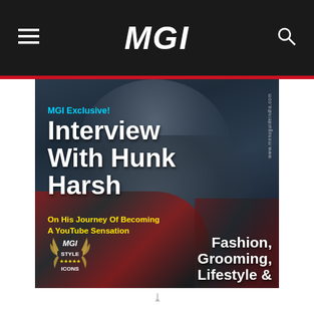MGI
[Figure (photo): Magazine cover of MGI (Men's Guide India) featuring a young Indian man with glasses and a beard wearing a plaid/flannel shirt. Overlaid text includes 'MGI Exclusive! Interview With Hunk Harsh On His Journey Of Becoming A YouTube Sensation', 'Fashion, Grooming, Lifestyle &', a Style Icons badge at bottom left, and the website URL www.mensguideindia.com running vertically on the right side.]
Fashion, Grooming, Lifestyle &